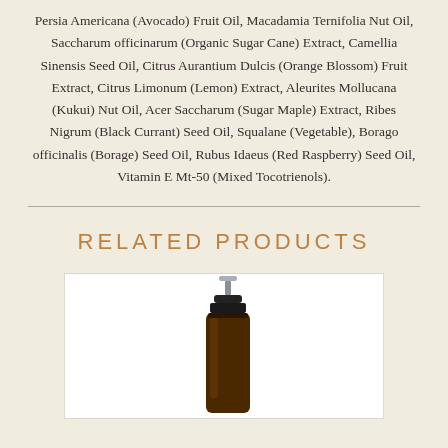Persia Americana (Avocado) Fruit Oil, Macadamia Ternifolia Nut Oil, Saccharum officinarum (Organic Sugar Cane) Extract, Camellia Sinensis Seed Oil, Citrus Aurantium Dulcis (Orange Blossom) Fruit Extract, Citrus Limonum (Lemon) Extract, Aleurites Mollucana (Kukui) Nut Oil, Acer Saccharum (Sugar Maple) Extract, Ribes Nigrum (Black Currant) Seed Oil, Squalane (Vegetable), Borago officinalis (Borage) Seed Oil, Rubus Idaeus (Red Raspberry) Seed Oil, Vitamin E Mt-50 (Mixed Tocotrienols).
RELATED PRODUCTS
[Figure (photo): A dark amber glass bottle with a pump/spray cap, shown against a white background inside a product card.]